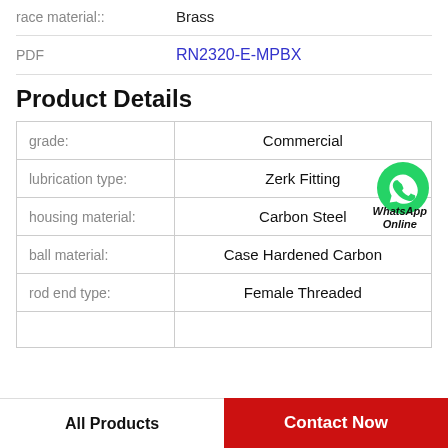race material:: Brass
PDF  RN2320-E-MPBX
Product Details
| Property | Value |
| --- | --- |
| grade: | Commercial |
| lubrication type: | Zerk Fitting |
| housing material: | Carbon Steel |
| ball material: | Case Hardened Carbon |
| rod end type: | Female Threaded |
|  |  |
WhatsApp Online
All Products
Contact Now